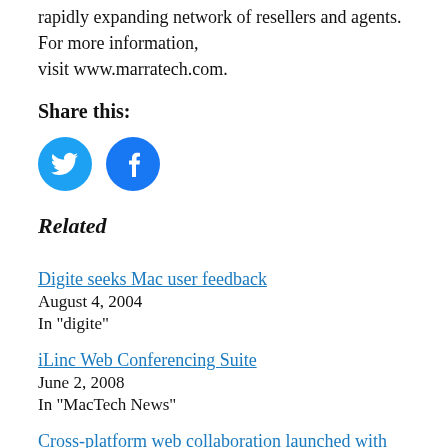rapidly expanding network of resellers and agents. For more information,
visit www.marratech.com.
Share this:
[Figure (illustration): Twitter and Facebook share icon buttons (blue circles with white icons)]
Related
Digite seeks Mac user feedback
August 4, 2004
In "digite"
iLinc Web Conferencing Suite
June 2, 2008
In "MacTech News"
Cross-platform web collaboration launched with Yuuguu